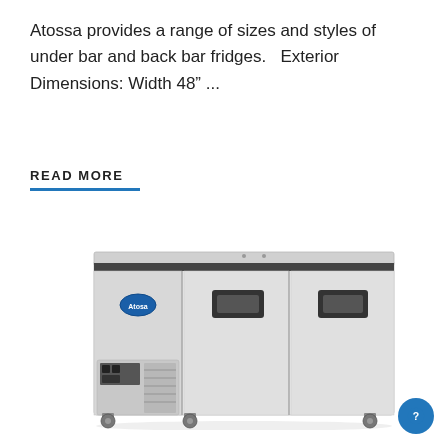Atossa provides a range of sizes and styles of under bar and back bar fridges.   Exterior Dimensions: Width 48" ...
READ MORE
[Figure (photo): Stainless steel under bar / back bar refrigerator with two solid doors and a compressor unit on the left side with ventilation grille and control panel. The unit sits on casters.]